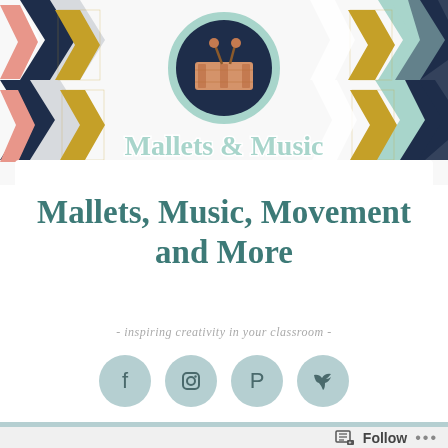[Figure (illustration): Website header banner with colorful chevron/arrow pattern in navy, gold, coral/salmon, mint colors. Center has circular logo with dark navy background and xylophone with mallets icon, bordered in mint/teal.]
Mallets & Music
Mallets, Music, Movement and More
- inspiring creativity in your classroom -
[Figure (infographic): Four circular social media icon buttons in muted teal/sage color: Facebook, Instagram, Pinterest, Twitter]
Follow ...